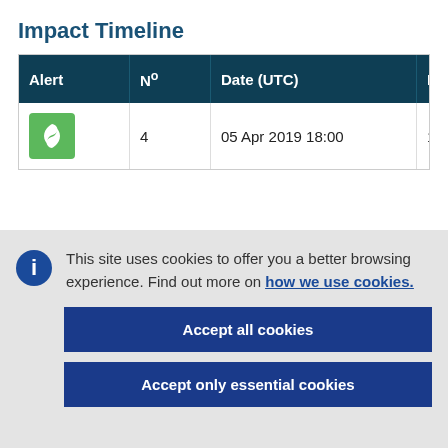Impact Timeline
| Alert | N° | Date (UTC) | Max Winds (km/h) | T |
| --- | --- | --- | --- | --- |
| [storm icon] | 4 | 05 Apr 2019 18:00 | 111 |  |
This site uses cookies to offer you a better browsing experience. Find out more on how we use cookies.
Accept all cookies
Accept only essential cookies